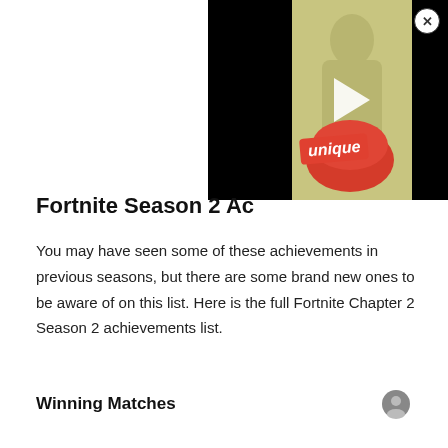[Figure (screenshot): Video player thumbnail showing a game-related image with 'unique' text in red/cursive style on a yellowish-green background, overlaid with a play button. Black bars on either side. Close (X) button in top-right corner.]
Fortnite Season 2 Ac…
You may have seen some of these achievements in previous seasons, but there are some brand new ones to be aware of on this list. Here is the full Fortnite Chapter 2 Season 2 achievements list.
Winning Matches